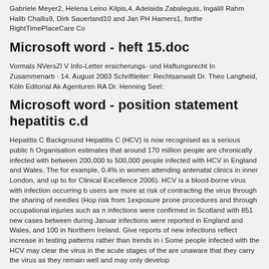Gabriele Meyer2, Helena Leino Kilpis,4, Adelaida Zabaleguis, Ingalill Rahm Hallb Challis9, Dirk Sauerland10 and Jan PH Hamers1, forthe RightTimePlaceCare Co
Microsoft word - heft 15.doc
Vormals NVersZl V Info-Letter ersicherungs- und Haftungsrecht In Zusammenarb · 14. August 2003 Schriftleiter: Rechtsanwalt Dr. Theo Langheid, Köln Editorial Ak Agenturen RA Dr. Henning Seel:
Microsoft word - position statement hepatitis c.d
Hepatitis C Background Hepatitis C (HCV) is now recognised as a serious public h Organisation estimates that around 170 million people are chronically infected with between 200,000 to 500,000 people infected with HCV in England and Wales. The for example, 0.4% in women attending antenatal clinics in inner London, and up to for Clinical Excellence 2006). HCV is a blood-borne virus with infection occurring b users are more at risk of contracting the virus through the sharing of needles (Hop risk from 1exposure prone procedures and through occupational injuries such as n infections were confirmed in Scotland with 851 new cases between during Januar infections were reported in England and Wales, and 100 in Northern Ireland. Give reports of new infections reflect increase in testing patterns rather than trends in i Some people infected with the HCV may clear the virus in the acute stages of the are unaware that they carry the virus as they remain well and may only develop